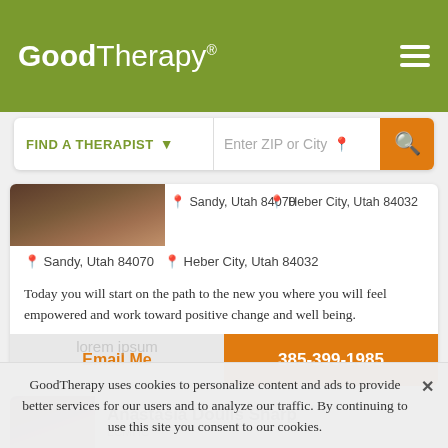GoodTherapy®
FIND A THERAPIST ▾   Enter ZIP or City
Sandy, Utah 84070   Heber City, Utah 84032
Today you will start on the path to the new you where you will feel empowered and work toward positive change and well being.
Synergism is defined to mean that the combination of two forces can
Email Me
385-399-1985
Anastasia Doulis Sharp
LCMHC
GoodTherapy uses cookies to personalize content and ads to provide better services for our users and to analyze our traffic. By continuing to use this site you consent to our cookies.